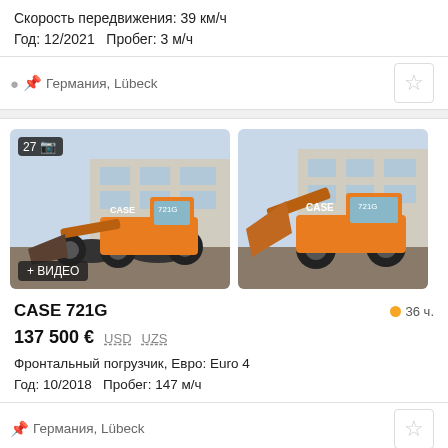Скорость передвижения: 39 км/ч
Год: 12/2021   Пробег: 3 м/ч
Германия, Lübeck
[Figure (photo): Two CASE 721G wheel loaders parked in an industrial area, front-left and front-right views. Badge shows 27 photos and a video badge.]
CASE 721G
36 ч.
137 500 €  USD  UZS
Фронтальный погрузчик, Евро: Euro 4
Год: 10/2018   Пробег: 147 м/ч
Германия, Lübeck